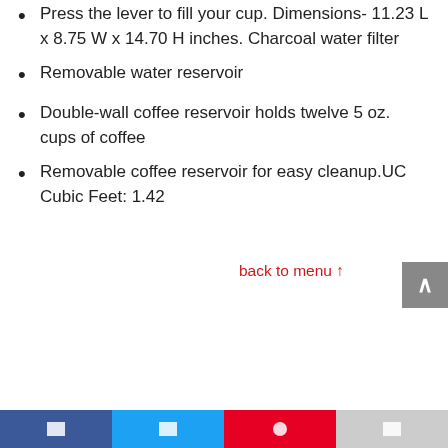Press the lever to fill your cup. Dimensions- 11.23 L x 8.75 W x 14.70 H inches. Charcoal water filter
Removable water reservoir
Double-wall coffee reservoir holds twelve 5 oz. cups of coffee
Removable coffee reservoir for easy cleanup.UC Cubic Feet: 1.42
back to menu ↑
Ninja 12-Cup Programmable Coffee Maker with Classic and Rich Brews, 60 oz. Water Reservoir, and Thermal Flavor Extraction (CE201), Black/Stainless Steel